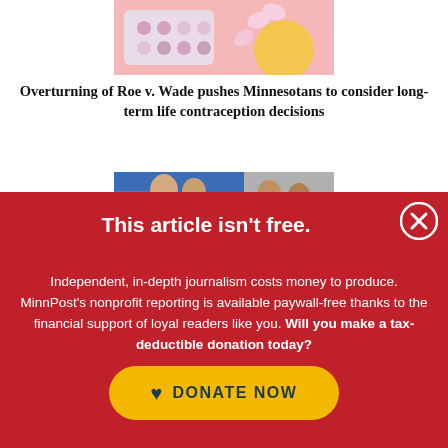[Figure (photo): Contraceptive pills and birth control items on a pink/yellow background]
Overturning of Roe v. Wade pushes Minnesotans to consider long-term life contraception decisions
[Figure (photo): Several men in suits standing together, appearing at a press conference or official event]
This article isn't free.
Independent, in-depth journalism costs money to produce. MinnPost's nonprofit reporting is available paywall-free thanks to the financial support of loyal readers like you. Will you make a tax-deductible donation today?
DONATE NOW